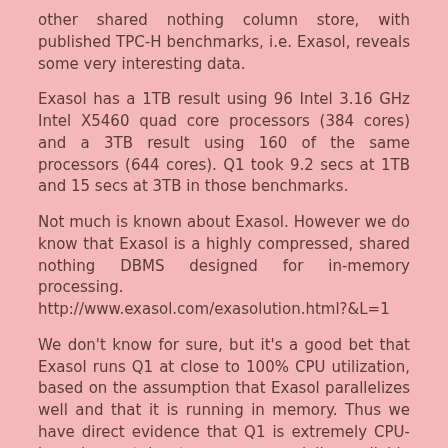other shared nothing column store, with published TPC-H benchmarks, i.e. Exasol, reveals some very interesting data.
Exasol has a 1TB result using 96 Intel 3.16 GHz Intel X5460 quad core processors (384 cores) and a 3TB result using 160 of the same processors (644 cores). Q1 took 9.2 secs at 1TB and 15 secs at 3TB in those benchmarks.
Not much is known about Exasol. However we do know that Exasol is a highly compressed, shared nothing DBMS designed for in-memory processing. http://www.exasol.com/exasolution.html?&L=1
We don't know for sure, but it's a good bet that Exasol runs Q1 at close to 100% CPU utilization, based on the assumption that Exasol parallelizes well and that it is running in memory. Thus we have direct evidence that Q1 is extremely CPU-bound on at least one commercially available column store.
You might want to argue that maybe Exasol has not